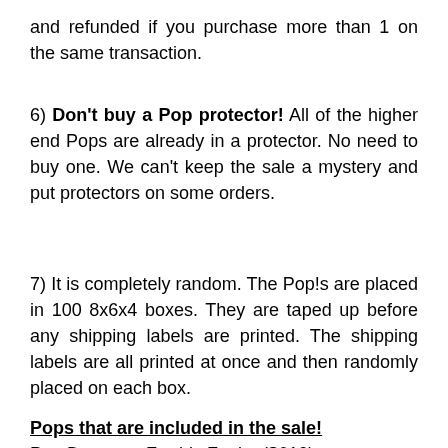and refunded if you purchase more than 1 on the same transaction.
6) Don't buy a Pop protector! All of the higher end Pops are already in a protector. No need to buy one. We can't keep the sale a mystery and put protectors on some orders.
7) It is completely random. The Pop!s are placed in 100 8x6x4 boxes. They are taped up before any shipping labels are printed. The shipping labels are all printed at once and then randomly placed on each box.
Pops that are included in the sale!
Poe Dameron Freddy Funko ($610)
The Mandalorian 2019 Fall Con ($230)